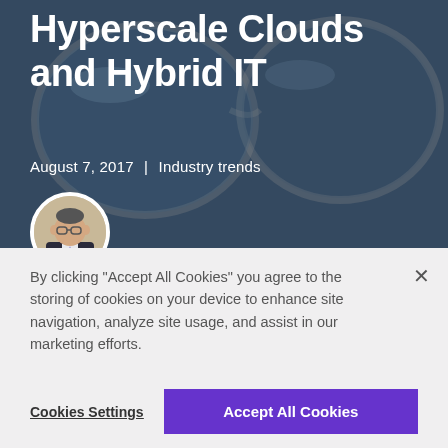[Figure (photo): Hero background image showing close-up of eyeglasses with ocean/water reflection, darkened overlay]
Hyperscale Clouds and Hybrid IT
August 7, 2017 | Industry trends
[Figure (photo): Circular avatar photo of a man in a dark suit jacket]
By clicking “Accept All Cookies” you agree to the storing of cookies on your device to enhance site navigation, analyze site usage, and assist in our marketing efforts.
Cookies Settings
Accept All Cookies